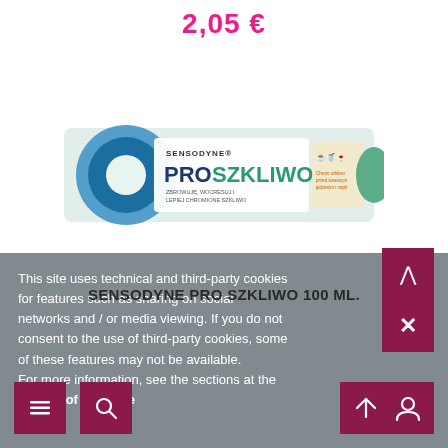2,05 €
[Figure (photo): Sensodyne Pro Szkliwo toothpaste tube product image, showing a white/green tube with 'SENSODYNE PRO SZKLIWO' branding and icons]
SENSODYNE PRO SZKLIWO 100 ML.
This site uses technical and third-party cookies for features such as sharing on social networks and / or media viewing. If you do not consent to the use of third-party cookies, some of these features may not be available. For more information, see the sections at the bottom of the page